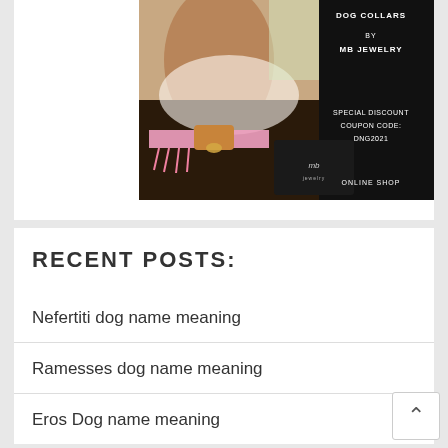[Figure (photo): Advertisement image for MB Jewelry dog collars. Shows a dog wearing a pink lace collar with leather strap. Black background on right side with white text: 'DOG COLLARS BY MB JEWELRY', 'SPECIAL DISCOUNT COUPON CODE: DNG2021', 'ONLINE SHOP'. MB Jewelry logo tag visible.]
RECENT POSTS:
Nefertiti dog name meaning
Ramesses dog name meaning
Eros Dog name meaning